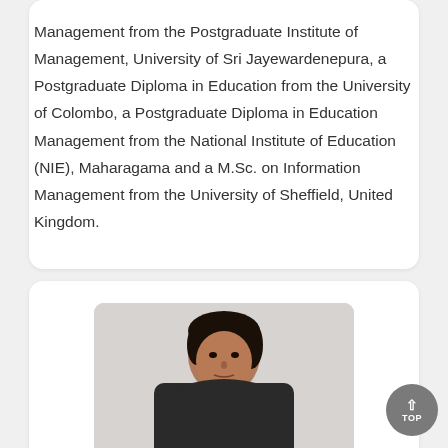Management from the Postgraduate Institute of Management, University of Sri Jayewardenepura, a Postgraduate Diploma in Education from the University of Colombo, a Postgraduate Diploma in Education Management from the National Institute of Education (NIE), Maharagama and a M.Sc. on Information Management from the University of Sheffield, United Kingdom.
[Figure (photo): Portrait photograph of a woman seated in a black office chair, facing the camera]